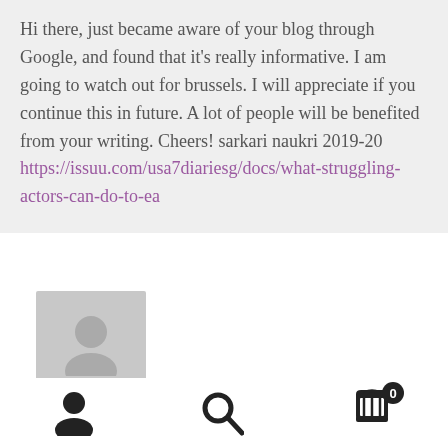Hi there, just became aware of your blog through Google, and found that it's really informative. I am going to watch out for brussels. I will appreciate if you continue this in future. A lot of people will be benefited from your writing. Cheers! sarkari naukri 2019-20 https://issuu.com/usa7diariesg/docs/what-struggling-actors-can-do-to-ea
[Figure (photo): Gray placeholder avatar icon with a generic user silhouette]
[Figure (infographic): Bottom navigation bar with user icon, search icon, and shopping cart icon with badge showing 0]